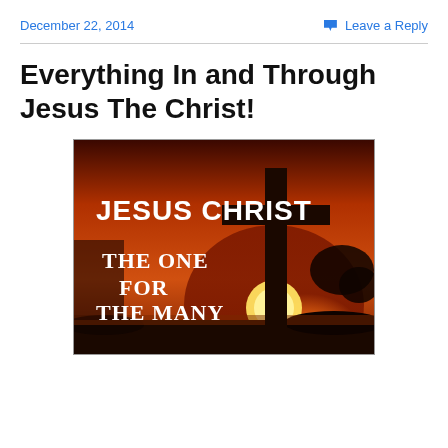December 22, 2014    Leave a Reply
Everything In and Through Jesus The Christ!
[Figure (illustration): A sunset photograph with a silhouetted cross against an orange sky. Text on image reads 'JESUS CHRIST' in bold white and 'THE ONE FOR THE MANY' in white serif text.]